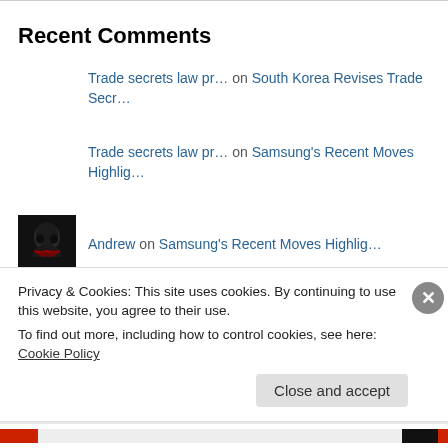Recent Comments
Trade secrets law pr… on South Korea Revises Trade Secr…
Trade secrets law pr… on Samsung's Recent Moves Highlig…
Andrew on Samsung's Recent Moves Highlig…
Samsung victim wins… on A Samsung Cluster Victim Wins…
[Korea] Young Woman… on Young Woman Worker Dies Amid
Privacy & Cookies: This site uses cookies. By continuing to use this website, you agree to their use.
To find out more, including how to control cookies, see here: Cookie Policy
Close and accept